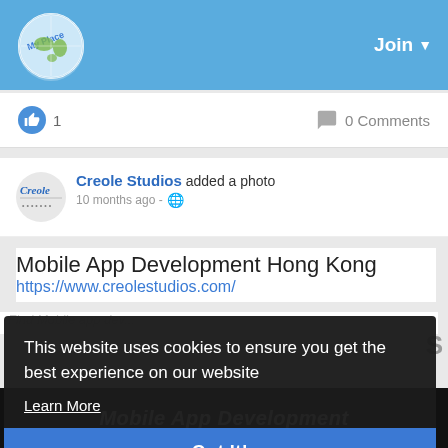My Place  Join
1  0 Comments
Creole Studios added a photo
10 months ago
Mobile App Development Hong Kong
https://www.creolestudios.com/
[Figure (screenshot): Screenshot showing a cookie consent overlay on MyPlace social platform with text: This website uses cookies to ensure you get the best experience on our website. Learn More. Got It! button. Behind the overlay is a Creole Studios social post about Mobile App Development Hong Kong.]
This website uses cookies to ensure you get the best experience on our website
Learn More
Got It!
Mobile App Development